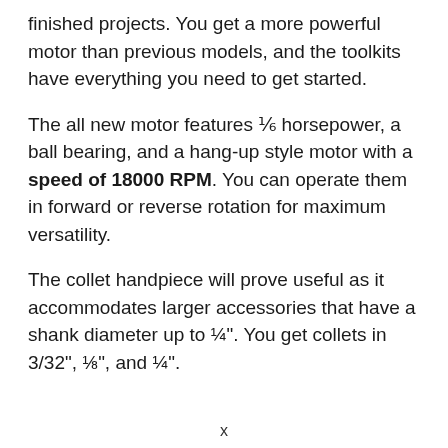finished projects. You get a more powerful motor than previous models, and the toolkits have everything you need to get started.
The all new motor features ⅙ horsepower, a ball bearing, and a hang-up style motor with a speed of 18000 RPM. You can operate them in forward or reverse rotation for maximum versatility.
The collet handpiece will prove useful as it accommodates larger accessories that have a shank diameter up to ¼". You get collets in 3/32", ⅛", and ¼".
x